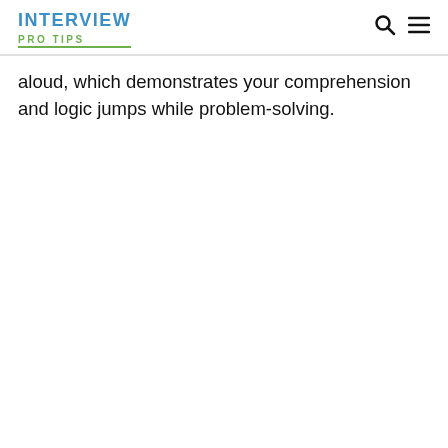INTERVIEW PRO TIPS
aloud, which demonstrates your comprehension and logic jumps while problem-solving.